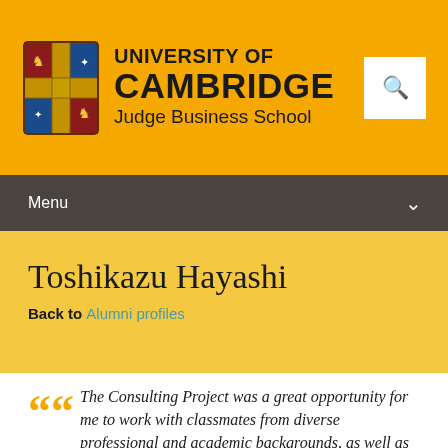[Figure (logo): University of Cambridge Judge Business School logo with crest and text on golden yellow header]
Menu
Toshikazu Hayashi
Back to Alumni profiles
The Consulting Project was a great opportunity for me to work with classmates from diverse professional and academic backgrounds, as well as to get involved in